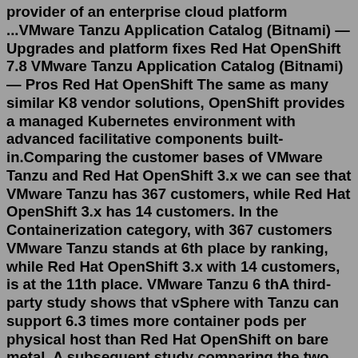provider of an enterprise cloud platform ...VMware Tanzu Application Catalog (Bitnami) — Upgrades and platform fixes Red Hat OpenShift 7.8 VMware Tanzu Application Catalog (Bitnami) — Pros Red Hat OpenShift The same as many similar K8 vendor solutions, OpenShift provides a managed Kubernetes environment with advanced facilitative components built-in.Comparing the customer bases of VMware Tanzu and Red Hat OpenShift 3.x we can see that VMware Tanzu has 367 customers, while Red Hat OpenShift 3.x has 14 customers. In the Containerization category, with 367 customers VMware Tanzu stands at 6th place by ranking, while Red Hat OpenShift 3.x with 14 customers, is at the 11th place. VMware Tanzu 6 thA third-party study shows that vSphere with Tanzu can support 6.3 times more container pods per physical host than Red Hat OpenShift on bare metal. A subsequent study comparing the two environments showed that vSphere with Tanzu also required up to 28% less storage and up to 22% less memory compared to Red